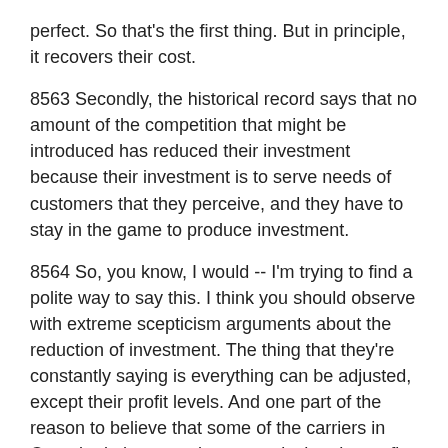perfect. So that's the first thing. But in principle, it recovers their cost.
8563 Secondly, the historical record says that no amount of the competition that might be introduced has reduced their investment because their investment is to serve needs of customers that they perceive, and they have to stay in the game to produce investment.
8564 So, you know, I would -- I'm trying to find a polite way to say this. I think you should observe with extreme scepticism arguments about the reduction of investment. The thing that they're constantly saying is everything can be adjusted, except their profit levels. And one part of the reason to believe that some of the carriers in Canada do have market power is that the profit levels are not adjusted.
8565 So obviously, to Mr. Bibic, who's excellent at his job by the way, thinks that his investors in Dusseldorf, or wherever it is, has rights to a level of profit. But that man in